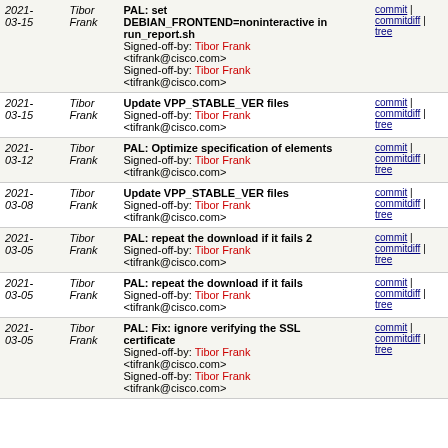| Date | Author | Commit Message | Links |
| --- | --- | --- | --- |
| 2021-03-15 | Tibor Frank | PAL: set DEBIAN_FRONTEND=noninteractive in run_report.sh
Signed-off-by: Tibor Frank <tifrank@cisco.com>
Signed-off-by: Tibor Frank <tifrank@cisco.com> | commit | commitdiff | tree |
| 2021-03-15 | Tibor Frank | Update VPP_STABLE_VER files
Signed-off-by: Tibor Frank <tifrank@cisco.com> | commit | commitdiff | tree |
| 2021-03-12 | Tibor Frank | PAL: Optimize specification of elements
Signed-off-by: Tibor Frank <tifrank@cisco.com> | commit | commitdiff | tree |
| 2021-03-08 | Tibor Frank | Update VPP_STABLE_VER files
Signed-off-by: Tibor Frank <tifrank@cisco.com> | commit | commitdiff | tree |
| 2021-03-05 | Tibor Frank | PAL: repeat the download if it fails 2
Signed-off-by: Tibor Frank <tifrank@cisco.com> | commit | commitdiff | tree |
| 2021-03-05 | Tibor Frank | PAL: repeat the download if it fails
Signed-off-by: Tibor Frank <tifrank@cisco.com> | commit | commitdiff | tree |
| 2021-03-05 | Tibor Frank | PAL: Fix: ignore verifying the SSL certificate
Signed-off-by: Tibor Frank <tifrank@cisco.com>
Signed-off-by: Tibor Frank <tifrank@cisco.com> | commit | commitdiff | tree |